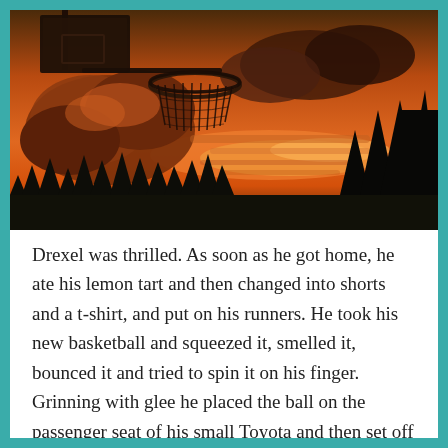[Figure (photo): Dramatic sunset sky with orange and red clouds behind a basketball hoop and backboard silhouette, with dark tree silhouettes at the bottom.]
Drexel was thrilled. As soon as he got home, he ate his lemon tart and then changed into shorts and a t-shirt, and put on his runners. He took his new basketball and squeezed it, smelled it, bounced it and tried to spin it on his finger. Grinning with glee he placed the ball on the passenger seat of his small Toyota and then set off for the outdoor basketball courts at the local park, whistling and trying to